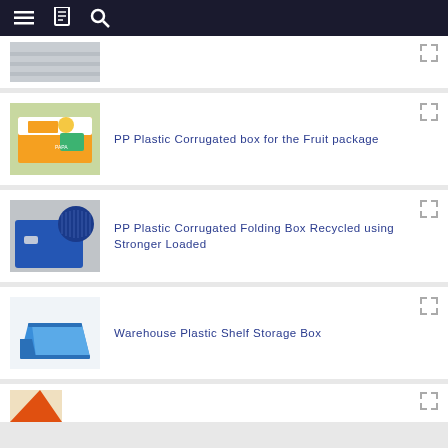Navigation bar with menu, catalog, and search icons
[Figure (photo): Partial product card at top - corrugated sheet material image]
[Figure (photo): PP Plastic Corrugated box for the Fruit package - orange and white fruit box]
PP Plastic Corrugated box for the Fruit package
[Figure (photo): PP Plastic Corrugated Folding Box Recycled using Stronger Loaded - blue folding box]
PP Plastic Corrugated Folding Box Recycled using Stronger Loaded
[Figure (photo): Warehouse Plastic Shelf Storage Box - blue open-front bin]
Warehouse Plastic Shelf Storage Box
[Figure (photo): Partial product card at bottom - partially visible product]